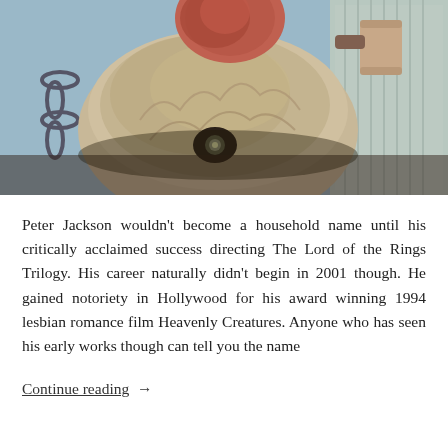[Figure (photo): A close-up horror/creature film still showing a grotesque creature or monster head viewed from below, with a large rounded dome-like skull covered in rough texture, a single visible eye, and a mutilated or masked figure visible above holding what appears to be a can. The setting appears to be an interior space with chains visible on the left.]
Peter Jackson wouldn't become a household name until his critically acclaimed success directing The Lord of the Rings Trilogy. His career naturally didn't begin in 2001 though. He gained notoriety in Hollywood for his award winning 1994 lesbian romance film Heavenly Creatures. Anyone who has seen his early works though can tell you the name
Continue reading  →